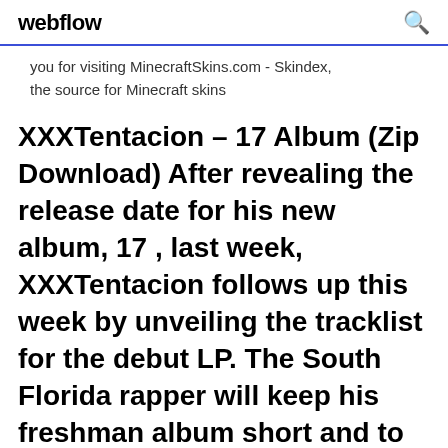webflow
you for visiting MinecraftSkins.com - Skindex, the source for Minecraft skins
XXXTentacion – 17 Album (Zip Download) After revealing the release date for his new album, 17 , last week, XXXTentacion follows up this week by unveiling the tracklist for the debut LP. The South Florida rapper will keep his freshman album short and to the point as the offering will contain eight songs and only one feature